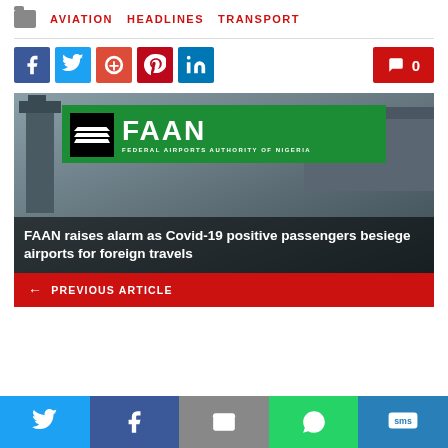AVIATION   HEADLINES   TRANSPORT
[Figure (screenshot): Social share buttons: Facebook, Twitter, Google+, Pinterest, LinkedIn, and comment count badge showing 0]
[Figure (photo): FAAN (Federal Airports Authority of Nigeria) logo on airport background with headline: FAAN raises alarm as Covid-19 positive passengers besiege airports for foreign travels]
FAAN raises alarm as Covid-19 positive passengers besiege airports for foreign travels
← PREVIOUS ARTICLE
Twitter, Facebook, Email, WhatsApp, SMS share buttons